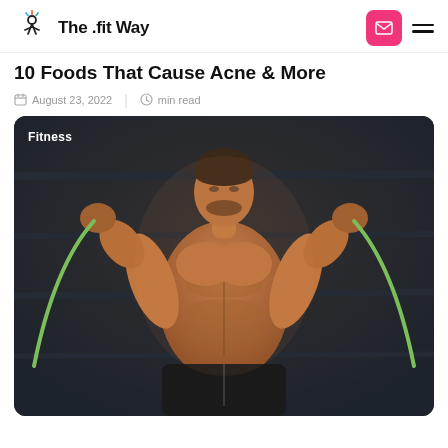The .fit Way
10 Foods That Cause Acne & More
August 23, 2022 | min read
[Figure (photo): Muscular man without shirt using resistance bands, photographed against a dark concrete wall background. A 'Fitness' label appears in the upper left corner of the image.]